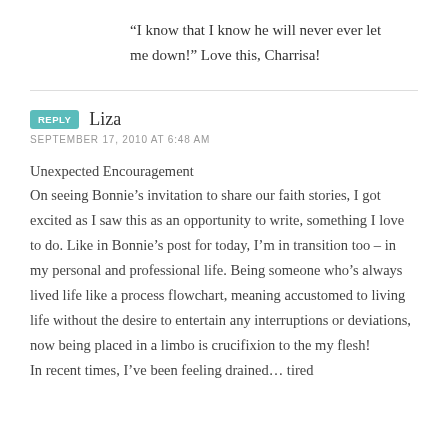“I know that I know he will never ever let me down!” Love this, Charrisa!
REPLY  Liza
SEPTEMBER 17, 2010 AT 6:48 AM
Unexpected Encouragement
On seeing Bonnie’s invitation to share our faith stories, I got excited as I saw this as an opportunity to write, something I love to do. Like in Bonnie’s post for today, I’m in transition too – in my personal and professional life. Being someone who’s always lived life like a process flowchart, meaning accustomed to living life without the desire to entertain any interruptions or deviations, now being placed in a limbo is crucifixion to the my flesh!
In recent times, I've been feeling drained... tired